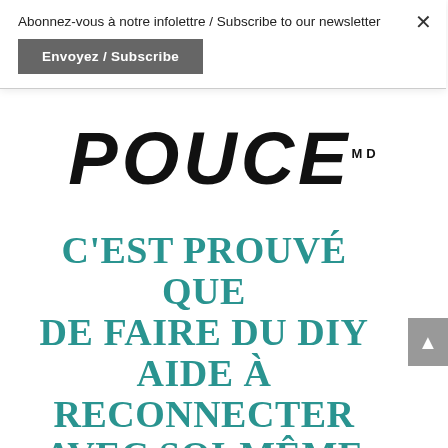Abonnez-vous à notre infolettre / Subscribe to our newsletter
Envoyez / Subscribe
[Figure (logo): POUCE magazine logo in bold italic black text with MD superscript trademark]
C'EST PROUVÉ QUE DE FAIRE DU DIY AIDE À RECONNECTER AVEC SOI-MÊME ET À RÉDUIRE SON...